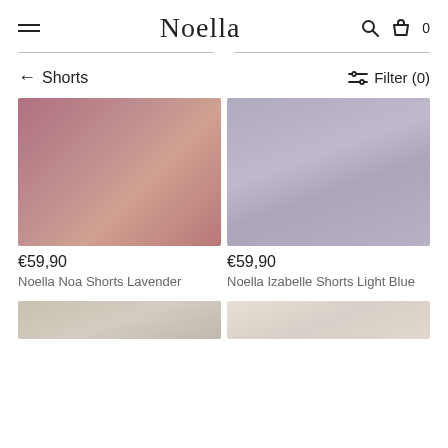Noella — navigation header with hamburger menu, brand name, search and bag icons
← Shorts
Filter (0)
[Figure (photo): Product image placeholder for Noella Noa Shorts Lavender — dusty rose/mauve gradient color swatch]
€59,90
Noella Noa Shorts Lavender
[Figure (photo): Product image placeholder for Noella Izabelle Shorts Light Blue — muted lavender/grey-blue gradient color swatch]
€59,90
Noella Izabelle Shorts Light Blue
[Figure (photo): Partial product image bottom left — warm taupe/beige gradient]
[Figure (photo): Partial product image bottom right — light cream/sand gradient]